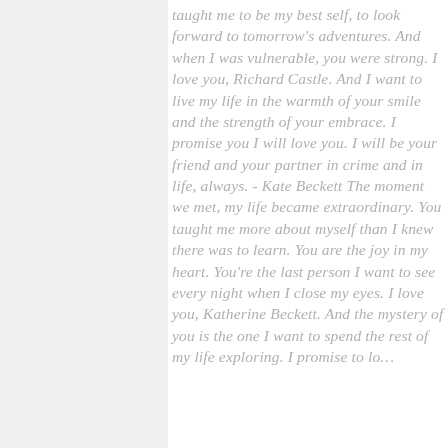taught me to be my best self, to look forward to tomorrow's adventures. And when I was vulnerable, you were strong. I love you, Richard Castle. And I want to live my life in the warmth of your smile and the strength of your embrace. I promise you I will love you. I will be your friend and your partner in crime and in life, always. - Kate Beckett The moment we met, my life became extraordinary. You taught me more about myself than I knew there was to learn. You are the joy in my heart. You're the last person I want to see every night when I close my eyes. I love you, Katherine Beckett. And the mystery of you is the one I want to spend the rest of my life exploring. I promise to love you...